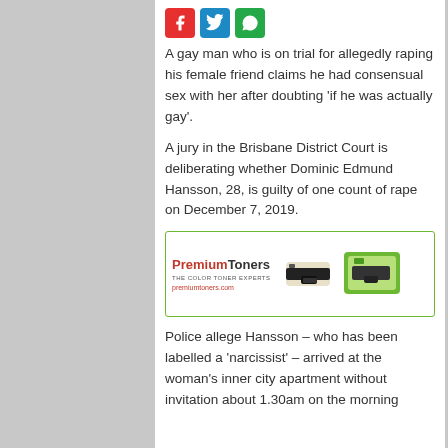[Figure (other): Social media share icons: red Facebook, blue Twitter, green WhatsApp]
A gay man who is on trial for allegedly raping his female friend claims he had consensual sex with her after doubting ‘if he was actually gay’.
A jury in the Brisbane District Court is deliberating whether Dominic Edmund Hansson, 28, is guilty of one count of rape on December 7, 2019.
[Figure (other): PremiumToners advertisement banner with toner cartridge images and text: PremiumToners THE COLOR TONER EXPERTS premiumtoners.com]
Police allege Hansson – who has been labelled a ‘narcissist’ – arrived at the woman’s inner city apartment without invitation about 1.30am on the morning